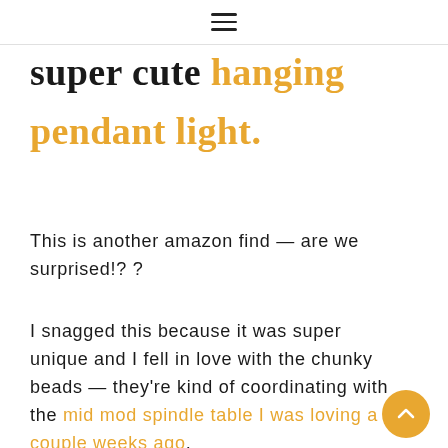≡
super cute hanging pendant light.
This is another amazon find — are we surprised!? ?
I snagged this because it was super unique and I fell in love with the chunky beads — they're kind of coordinating with the mid mod spindle table I was loving a couple weeks ago.